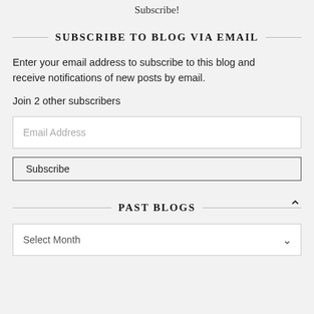Subscribe!
SUBSCRIBE TO BLOG VIA EMAIL
Enter your email address to subscribe to this blog and receive notifications of new posts by email.
Join 2 other subscribers
Email Address
Subscribe
PAST BLOGS
Select Month